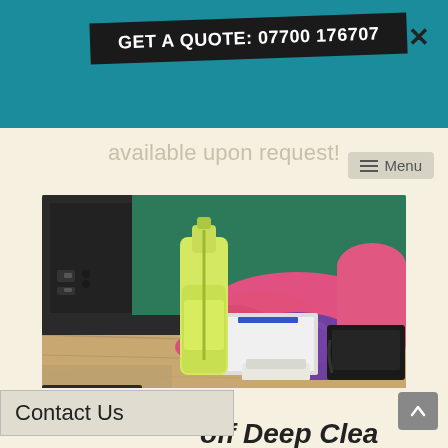GET A QUOTE: 07700 176707
available upon request!
≡ Menu
[Figure (photo): A person wearing pink rubber gloves cleaning an office desk with a purple cloth, with a yellow cleaning spray bottle, stapler, notebook, and black telephone on a wooden desk. A black monitor is visible in the background.]
Contact Us
off Deep Clea